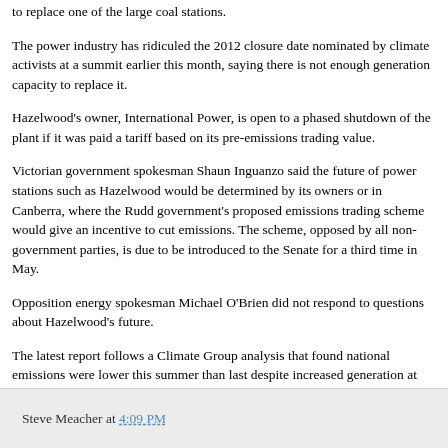to replace one of the large coal stations.
The power industry has ridiculed the 2012 closure date nominated by climate activists at a summit earlier this month, saying there is not enough generation capacity to replace it.
Hazelwood's owner, International Power, is open to a phased shutdown of the plant if it was paid a tariff based on its pre-emissions trading value.
Victorian government spokesman Shaun Inguanzo said the future of power stations such as Hazelwood would be determined by its owners or in Canberra, where the Rudd government's proposed emissions trading scheme would give an incentive to cut emissions. The scheme, opposed by all non-government parties, is due to be introduced to the Senate for a third time in May.
Opposition energy spokesman Michael O'Brien did not respond to questions about Hazelwood's future.
The latest report follows a Climate Group analysis that found national emissions were lower this summer than last despite increased generation at Victoria's brown-coal plants.
Steve Meacher at 4:09 PM